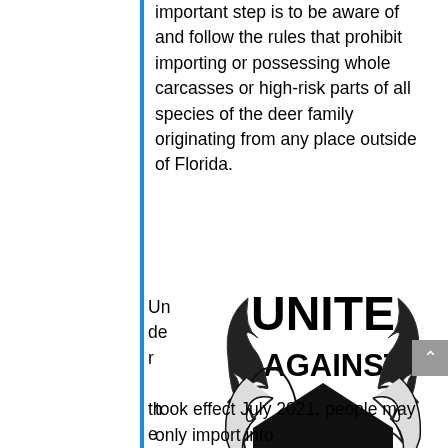important step is to be aware of and follow the rules that prohibit importing or possessing whole carcasses or high-risk parts of all species of the deer family originating from any place outside of Florida.
Under the new rules, which
[Figure (logo): Unite Against CWD Florida logo — black and white illustration with deer antlers and a diamond shape containing the text UNITE AGAINST CWD FLORIDA]
took effect July 2021, people may only import into